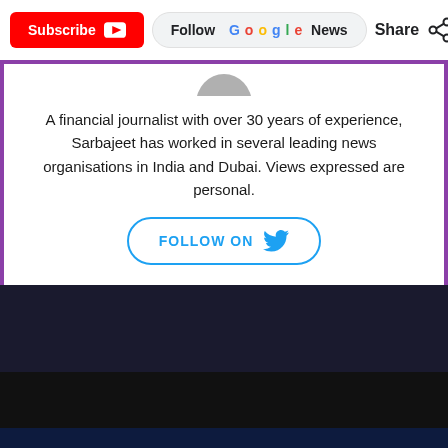Subscribe | Follow Google News | Share
A financial journalist with over 30 years of experience, Sarbajeet has worked in several leading news organisations in India and Dubai. Views expressed are personal.
FOLLOW ON
[Figure (other): Dark video embed / advertisement area below the author card]